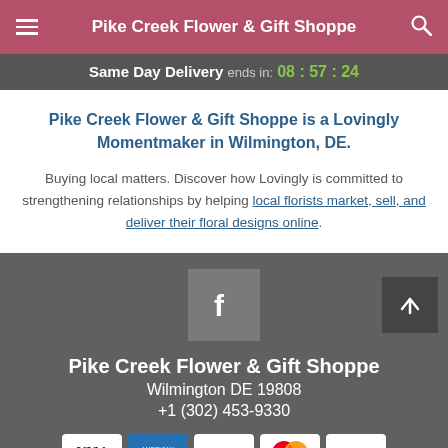Pike Creek Flower & Gift Shoppe
Same Day Delivery ends in: 08 : 57 : 24
Pike Creek Flower & Gift Shoppe is a Lovingly Momentmaker in Wilmington, DE.
Buying local matters. Discover how Lovingly is committed to strengthening relationships by helping local florists market, sell, and deliver their floral designs online.
[Figure (logo): Facebook social media icon in grey square]
Pike Creek Flower & Gift Shoppe
Wilmington DE 19808
+1 (302) 453-9330
[Figure (infographic): Payment method icons: VISA, American Express, Discover, Mastercard, Apple Pay]